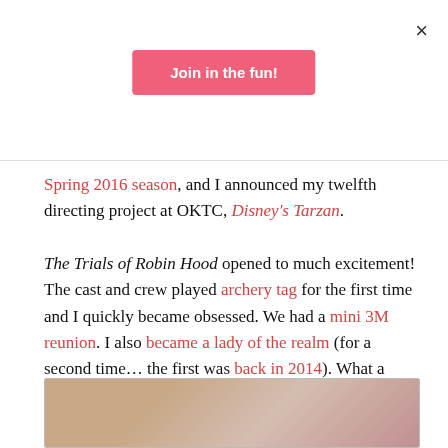×
Join in the fun!
Spring 2016 season, and I announced my twelfth directing project at OKTC, Disney's Tarzan.
The Trials of Robin Hood opened to much excitement! The cast and crew played archery tag for the first time and I quickly became obsessed. We had a mini 3M reunion. I also became a lady of the realm (for a second time… the first was back in 2014). What a great experience, with a great group of people.
[Figure (photo): Partial photo visible at bottom of page]